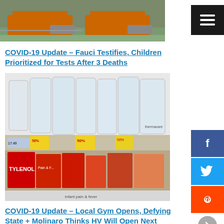[Figure (photo): A photo of a lawn mower on grass, shown side by side (duplicated image)]
[Figure (other): Black square menu/hamburger button icon with three white horizontal lines]
COVID-19 Update – Fauci Testifies, Children Prioritized for Tests After 3 Deaths
[Figure (photo): Photo of store shelves with empty slots above thermometers, Tylenol products below, yellow 50% off sale tags visible]
COVID-19 Update – Local Gym Opens, Defying State + Molinaro Thinks HV Will Open Next Week